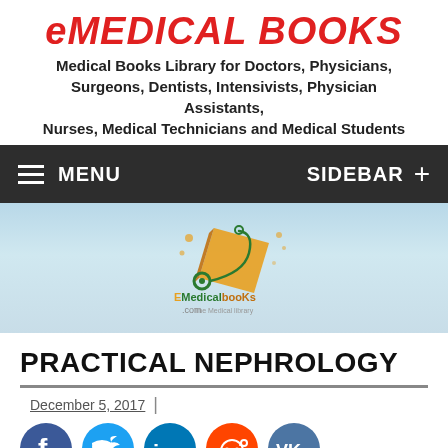eMEDICAL BOOKS
Medical Books Library for Doctors, Physicians, Surgeons, Dentists, Intensivists, Physician Assistants, Nurses, Medical Technicians and Medical Students
[Figure (screenshot): Dark navigation bar with hamburger menu icon, MENU text on left, SIDEBAR and + icon on right]
[Figure (logo): EMedicalbooks.com logo with orange book and green stethoscope illustration on light blue gradient background]
PRACTICAL NEPHROLOGY
December 5, 2017 |
[Figure (infographic): Row of social media share buttons: Facebook, Twitter, LinkedIn, Reddit, VK]